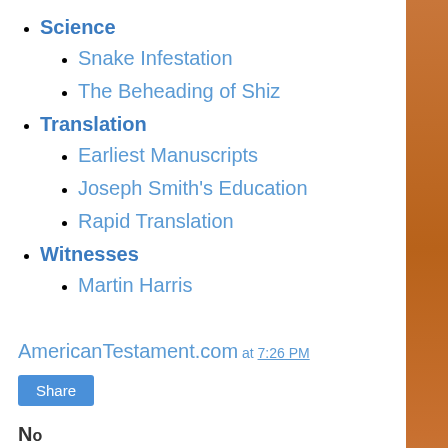Science
Snake Infestation
The Beheading of Shiz
Translation
Earliest Manuscripts
Joseph Smith's Education
Rapid Translation
Witnesses
Martin Harris
AmericanTestament.com at 7:26 PM
Share